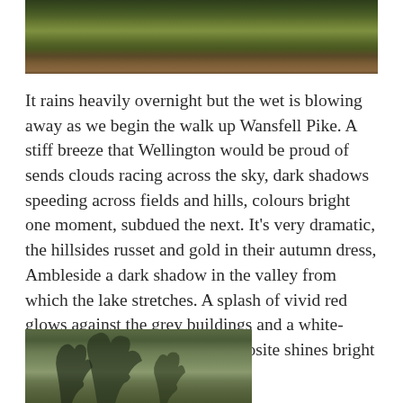[Figure (photo): Photograph of moorland or hillside with green and brown vegetation, grasses and heather, viewed from close range. Top portion of a landscape scene.]
It rains heavily overnight but the wet is blowing away as we begin the walk up Wansfell Pike. A stiff breeze that Wellington would be proud of sends clouds racing across the sky, dark shadows speeding across fields and hills, colours bright one moment, subdued the next. It’s very dramatic, the hillsides russet and gold in their autumn dress, Ambleside a dark shadow in the valley from which the lake stretches. A splash of vivid red glows against the grey buildings and a white-painted barn on the hillside opposite shines bright against the grey-green grass.
[Figure (photo): Partial photograph showing trees with bare or semi-bare branches against a grey sky, with dark landscape below. Bottom portion of image is cut off.]